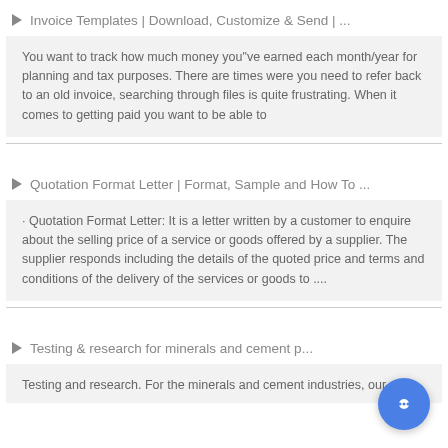Invoice Templates | Download, Customize & Send | ...
You want to track how much money you"ve earned each month/year for planning and tax purposes. There are times were you need to refer back to an old invoice, searching through files is quite frustrating. When it comes to getting paid you want to be able to
Quotation Format Letter | Format, Sample and How To ...
· Quotation Format Letter: It is a letter written by a customer to enquire about the selling price of a service or goods offered by a supplier. The supplier responds including the details of the quoted price and terms and conditions of the delivery of the services or goods to ....
Testing & research for minerals and cement p...
Testing and research. For the minerals and cement industries, our...